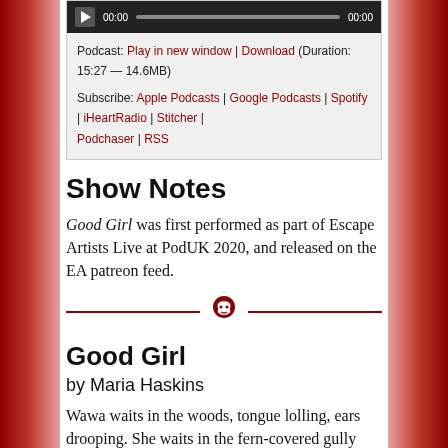[Figure (other): Audio player bar with play button, timestamp 00:00, progress bar, and end timestamp 00:00 on dark background]
Podcast: Play in new window | Download (Duration: 15:27 — 14.6MB)
Subscribe: Apple Podcasts | Google Podcasts | Spotify | iHeartRadio | Stitcher | Podchaser | RSS
Show Notes
Good Girl was first performed as part of Escape Artists Live at PodUK 2020, and released on the EA patreon feed.
[Figure (illustration): Decorative divider: dark red horizontal line with a small podcast skull/headphone icon in the center]
Good Girl
by Maria Haskins
Wawa waits in the woods, tongue lolling, ears drooping. She waits in the fern-covered gully beside